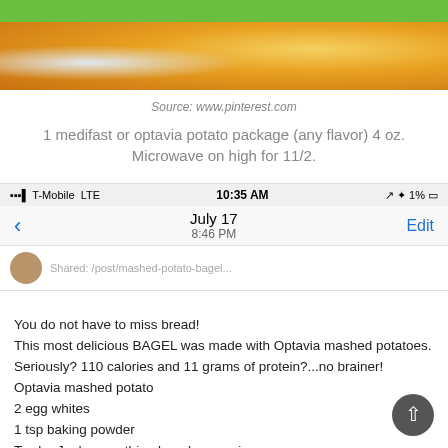[Figure (photo): Green banner header at top of page]
[Figure (photo): Food photo showing mashed potato dish in a bowl with yellow/orange color]
Source: www.pinterest.com
1 medifast or optavia potato package (any flavor) 4 oz. Microwave on high for 11/2.
[Figure (screenshot): iPhone screenshot showing T-Mobile LTE 10:35 AM 1% battery, July 17 8:46 PM navigation bar with back arrow and Edit button, profile avatar row]
You do not have to miss bread!
This most delicious BAGEL was made with Optavia mashed potatoes.
Seriously? 110 calories and 11 grams of protein?...no brainer!
Optavia mashed potato
2 egg whites
1 tsp baking powder
Trader Joe's everything bagel seasoning
Mix potatoes, egg whites and baking powder together. Put on a sprayed baking sheet and mold into a bagel shape. Sprinkle on the seeds. Bake in a preheated 350 degree oven